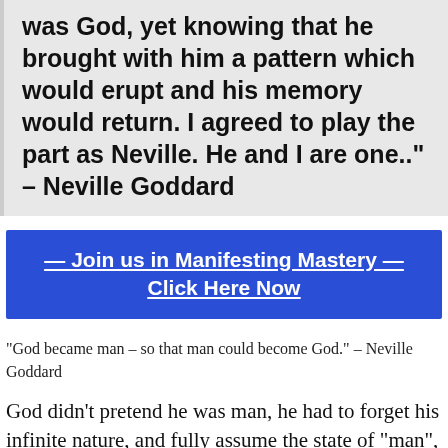had to completely forget that he was God, yet knowing that he brought with him a pattern which would erupt and his memory would return. I agreed to play the part as Neville. He and I are one.." – Neville Goddard
— Join us in Manifesting Mastery — Click Here Now
"God became man – so that man could become God." – Neville Goddard
God didn't pretend he was man, he had to forget his infinite nature, and fully assume the state of "man", to have the adventure of a lifetime, as you, as me, as Neville...